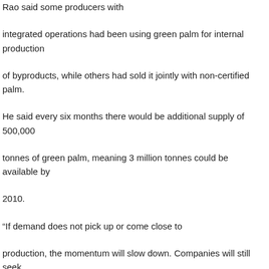Rao said some producers with integrated operations had been using green palm for internal production of byproducts, while others had sold it jointly with non-certified palm. He said every six months there would be additional supply of 500,000 tonnes of green palm, meaning 3 million tonnes could be available by 2010. “If demand does not pick up or come close to production, the momentum will slow down. Companies will still seek certification but the urgency to do so will ease,” he said, adding RSPO needed to assess which side was not fulfilling its commitments.
Source : Business Times